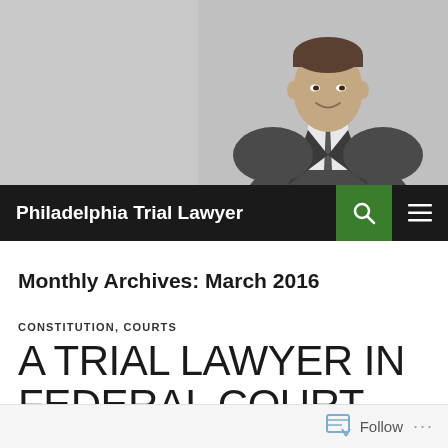[Figure (photo): Black and white professional headshot photo of a man in a suit and tie, smiling, against a light gray background]
Philadelphia Trial Lawyer
Monthly Archives: March 2016
CONSTITUTION, COURTS
A TRIAL LAWYER IN FEDERAL COURT